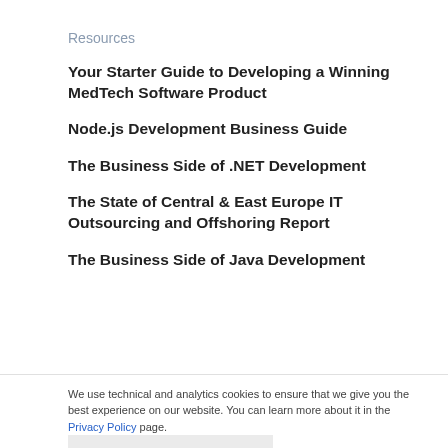Resources
Your Starter Guide to Developing a Winning MedTech Software Product
Node.js Development Business Guide
The Business Side of .NET Development
The State of Central & East Europe IT Outsourcing and Offshoring Report
The Business Side of Java Development
We use technical and analytics cookies to ensure that we give you the best experience on our website. You can learn more about it in the Privacy Policy page.
Accept & close